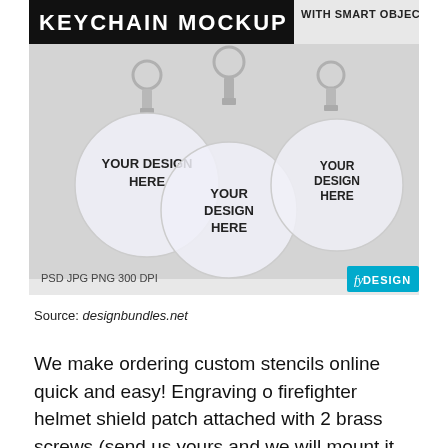[Figure (photo): Keychain mockup promotional image showing three circular acrylic keychains with 'YOUR DESIGN HERE' placeholder text. Top banner reads 'KEYCHAIN MOCKUP WITH SMART OBJECT'. Bottom left shows file format text: PSD JPG PNG 300 DPI. Bottom right has a cyan 'DESIGN' logo badge.]
Source: designbundles.net
We make ordering custom stencils online quick and easy! Engraving o firefighter helmet shield patch attached with 2 brass screws (send us yours and we will mount it or mount it yourself when you get the plaque) gold disc holder with your choice of